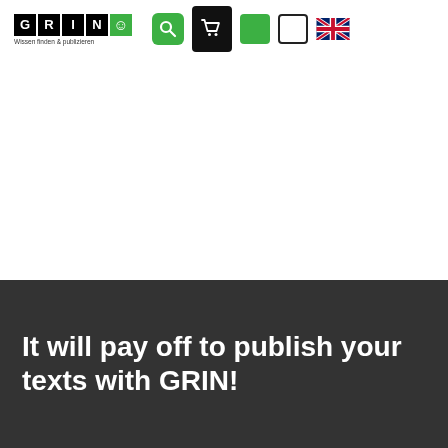[Figure (logo): GRIN logo with letter tiles G, R, I, N in black and smiley in green, with tagline 'Wissen finden & publizieren']
[Figure (screenshot): Navigation bar icons: green search icon, black shopping cart icon, green square, white bordered square, UK flag icon]
It will pay off to publish your texts with GRIN!